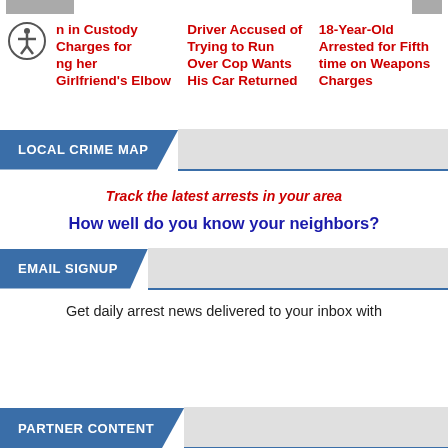[Figure (other): Accessibility icon (person in circle)]
n in Custody Charges for ng her Girlfriend's Elbow
Driver Accused of Trying to Run Over Cop Wants His Car Returned
18-Year-Old Arrested for Fifth time on Weapons Charges
LOCAL CRIME MAP
Track the latest arrests in your area
How well do you know your neighbors?
EMAIL SIGNUP
Get daily arrest news delivered to your inbox with
PARTNER CONTENT